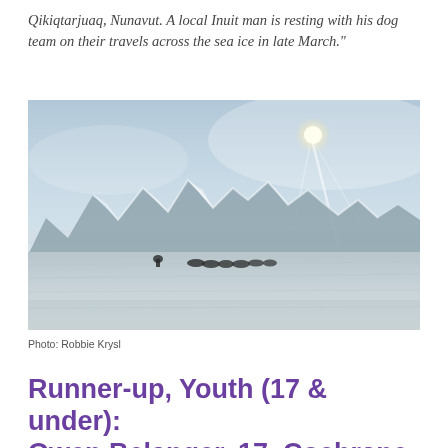Qikiqtarjuaq, Nunavut. A local Inuit man is resting with his dog team on their travels across the sea ice in late March."
[Figure (photo): Wide landscape photo of a frozen Arctic sea with snow-covered mountains in the background under a bright sun with light streaks. A small dog sled team and an Inuit man are resting on the sea ice in the middle distance.]
Photo: Robbie Krysl
Runner-up, Youth (17 & under): Owen Belanger, 17, Cochrane,